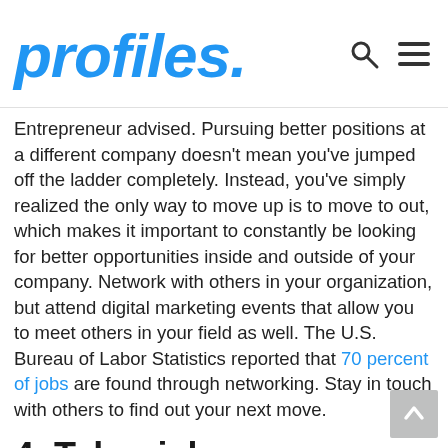profiles.
Entrepreneur advised. Pursuing better positions at a different company doesn't mean you've jumped off the ladder completely. Instead, you've simply realized the only way to move up is to move to out, which makes it important to constantly be looking for better opportunities inside and outside of your company. Network with others in your organization, but attend digital marketing events that allow you to meet others in your field as well. The U.S. Bureau of Labor Statistics reported that 70 percent of jobs are found through networking. Stay in touch with others to find out your next move.
4. Take risks
Making the jump that others aren't willing to take will help you stand out from the crowd. If